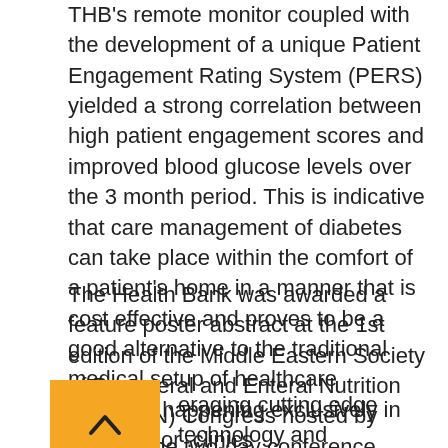THB's remote monitor coupled with the development of a unique Patient Engagement Rating System (PERS) yielded a strong correlation between high patient engagement scores and improved blood glucose levels over the 3 month period. This is indicative that care management of diabetes can take place within the comfort of a patient's home in a manner that is cost effective and proves to be a good alternative to the traditional medical setup of healthcare practices happening exclusively in hospitals or clinics.
The Health Bank was awarded a feature poster abstract at the 1st edition of the Middle Eastern Society of Parenteral and Enteral Nutrition (MESPEN) Congress hosted by SEHA. The two-day conference under the theme 'Raising the Practices of Clinical Nutrition' which took place in Abu Dhabi from the 13th to 15th of May.
...eraging cutting edge technology and combining quality, patient-centered care in the comfort of your home, THB continues to prove its commitment to providing